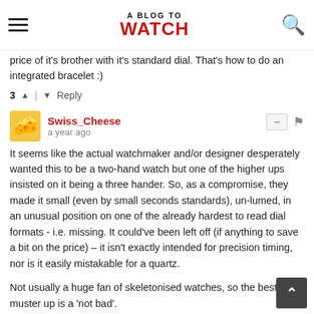A BLOG TO WATCH
price of it's brother with it's standard dial. That's how to do an integrated bracelet :)
3 ↑ | ↓ Reply
Swiss_Cheese
a year ago
It seems like the actual watchmaker and/or designer desperately wanted this to be a two-hand watch but one of the higher ups insisted on it being a three hander. So, as a compromise, they made it small (even by small seconds standards), un-lumed, in an unusual position on one of the already hardest to read dial formats - i.e. missing. It could've been left off (if anything to save a bit on the price) – it isn't exactly intended for precision timing, nor is it easily mistakable for a quartz.

Not usually a huge fan of skeletonised watches, so the best I can muster up is a 'not bad'.
2 ↑ | ↓ Reply